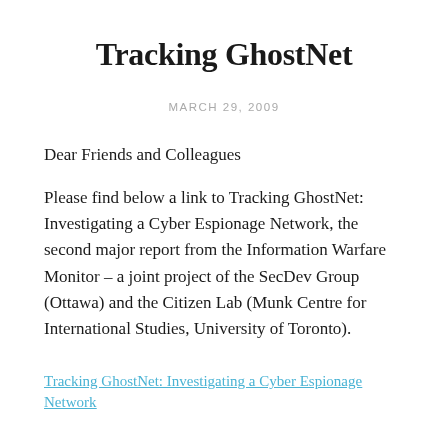Tracking GhostNet
MARCH 29, 2009
Dear Friends and Colleagues
Please find below a link to Tracking GhostNet: Investigating a Cyber Espionage Network, the second major report from the Information Warfare Monitor – a joint project of the SecDev Group (Ottawa) and the Citizen Lab (Munk Centre for International Studies, University of Toronto).
Tracking GhostNet: Investigating a Cyber Espionage Network